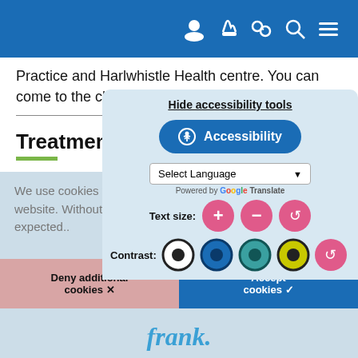Navigation bar with user, cursor, link, search, and menu icons
Practice and Harlwhistle Health centre. You can come to the clinic nearest to where you live.
Treatment
[Figure (screenshot): Accessibility tools panel overlay showing: Hide accessibility tools link, Accessibility button, Select Language dropdown with Google Translate, Text size controls (+, -, reset), Contrast selector with colored circle options]
We use cookies to ensure you get the best experience on our website. Without cookies, some functions may not work as expected..
Learn more about our cookies
Deny additional cookies ✕
Accept cookies ✓
frank.